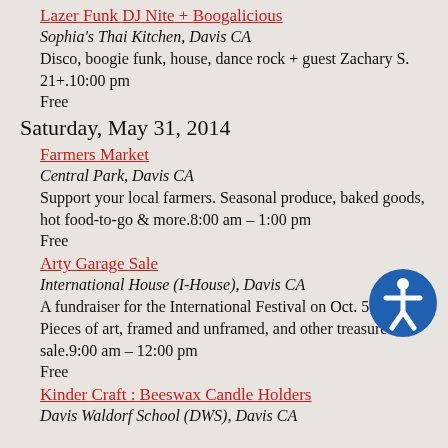Lazer Funk DJ Nite + Boogalicious
Sophia's Thai Kitchen, Davis CA
Disco, boogie funk, house, dance rock + guest Zachary S. 21+.10:00 pm
Free
Saturday, May 31, 2014
Farmers Market
Central Park, Davis CA
Support your local farmers. Seasonal produce, baked goods, hot food-to-go & more.8:00 am – 1:00 pm
Free
Arty Garage Sale
International House (I-House), Davis CA
A fundraiser for the International Festival on Oct. 5, 2014. Pieces of art, framed and unframed, and other treasures for sale.9:00 am – 12:00 pm
Free
Kinder Craft : Beeswax Candle Holders
Davis Waldorf School (DWS), Davis CA